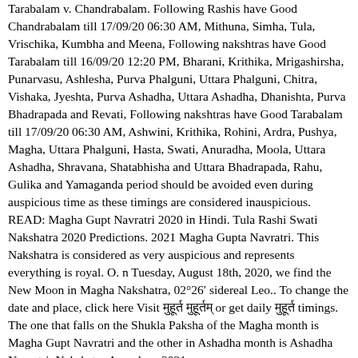Tarabalam v. Chandrabalam. Following Rashis have Good Chandrabalam till 17/09/20 06:30 AM, Mithuna, Simha, Tula, Vrischika, Kumbha and Meena, Following nakshtras have Good Tarabalam till 16/09/20 12:20 PM, Bharani, Krithika, Mrigashirsha, Punarvasu, Ashlesha, Purva Phalguni, Uttara Phalguni, Chitra, Vishaka, Jyeshta, Purva Ashadha, Uttara Ashadha, Dhanishta, Purva Bhadrapada and Revati, Following nakshtras have Good Tarabalam till 17/09/20 06:30 AM, Ashwini, Krithika, Rohini, Ardra, Pushya, Magha, Uttara Phalguni, Hasta, Swati, Anuradha, Moola, Uttara Ashadha, Shravana, Shatabhisha and Uttara Bhadrapada, Rahu, Gulika and Yamaganda period should be avoided even during auspicious time as these timings are considered inauspicious. READ: Magha Gupt Navratri 2020 in Hindi. Tula Rashi Swati Nakshatra 2020 Predictions. 2021 Magha Gupta Navratri. This Nakshatra is considered as very auspicious and represents everything is royal. O. n Tuesday, August 18th, 2020, we find the New Moon in Magha Nakshatra, 02°26′ sidereal Leo.. To change the date and place, click here Visit मुहूर्त मुहूर्तम् or get daily मुहूर्त timings. The one that falls on the Shukla Paksha of the Magha month is Magha Gupt Navratri and the other in Ashadha month is Ashadha Navratri. Nakshatra Anandana 2021.